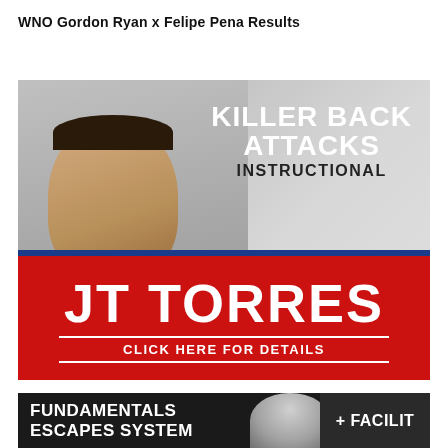WNO Gordon Ryan x Felipe Pena Results
[Figure (illustration): Advertisement banner for JT Torres Killer Back Attacks Instructional. Shows a man in a blue gi with text 'KILLER BACK ATTACKS INSTRUCTIONAL' at top right, 'JT TORRES' in large white text on red band, and 'CLICK HERE FOR DETAILS' below.]
[Figure (illustration): Partial advertisement banner showing 'FUNDAMENTALS ESCAPES SYSTEM' text on dark background with a figure and '+ FACILIT' text partially visible on the right.]